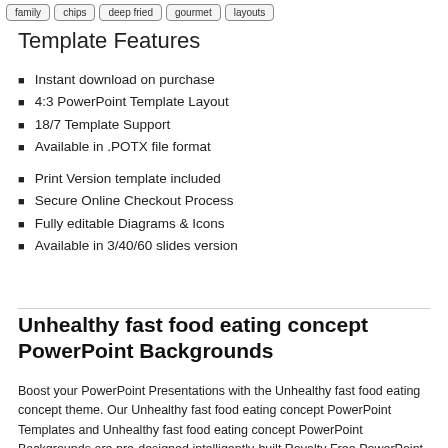family | chips | deep fried | gourmet | layouts
Template Features
Instant download on purchase
4:3 PowerPoint Template Layout
18/7 Template Support
Available in .POTX file format
Print Version template included
Secure Online Checkout Process
Fully editable Diagrams & Icons
Available in 3/40/60 slides version
Unhealthy fast food eating concept PowerPoint Backgrounds
Boost your PowerPoint Presentations with the Unhealthy fast food eating concept theme. Our Unhealthy fast food eating concept PowerPoint Templates and Unhealthy fast food eating concept PowerPoint Backgrounds are pre-designed intelligently-built Royalty Free PowerPoint presentation templates used for creating stunning